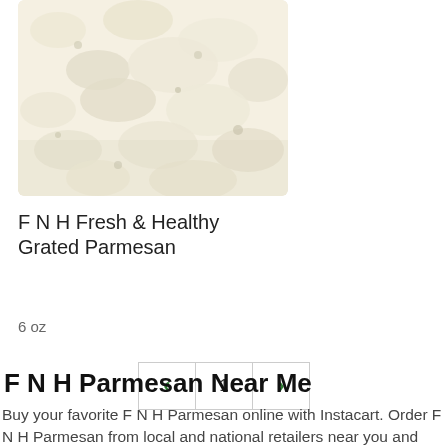[Figure (photo): Close-up photo of grated parmesan cheese, white and fluffy texture]
F N H Fresh & Healthy Grated Parmesan
6 oz
< 1 >
F N H Parmesan Near Me
Buy your favorite F N H Parmesan online with Instacart. Order F N H Parmesan from local and national retailers near you and enjoy on-demand, contactless delivery or pickup within 2 hours.